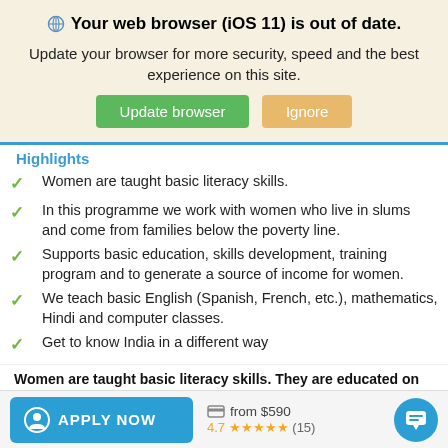Your web browser (iOS 11) is out of date.
Update your browser for more security, speed and the best experience on this site.
Highlights
Women are taught basic literacy skills.
In this programme we work with women who live in slums and come from families below the poverty line.
Supports basic education, skills development, training program and to generate a source of income for women.
We teach basic English (Spanish, French, etc.), mathematics, Hindi and computer classes.
Get to know India in a different way
Women are taught basic literacy skills. They are educated on
APPLY NOW  from $590  4.7 ★★★★★ (15)